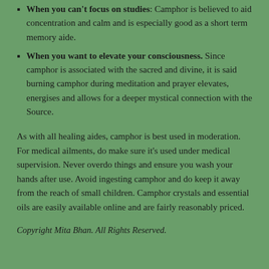When you can't focus on studies: Camphor is believed to aid concentration and calm and is especially good as a short term memory aide.
When you want to elevate your consciousness. Since camphor is associated with the sacred and divine, it is said burning camphor during meditation and prayer elevates, energises and allows for a deeper mystical connection with the Source.
As with all healing aides, camphor is best used in moderation. For medical ailments, do make sure it's used under medical supervision. Never overdo things and ensure you wash your hands after use. Avoid ingesting camphor and do keep it away from the reach of small children. Camphor crystals and essential oils are easily available online and are fairly reasonably priced.
Copyright Mita Bhan. All Rights Reserved.